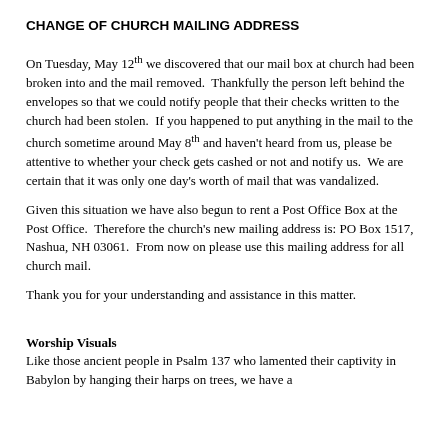CHANGE OF CHURCH MAILING ADDRESS
On Tuesday, May 12th we discovered that our mail box at church had been broken into and the mail removed.  Thankfully the person left behind the envelopes so that we could notify people that their checks written to the church had been stolen.  If you happened to put anything in the mail to the church sometime around May 8th and haven't heard from us, please be attentive to whether your check gets cashed or not and notify us.  We are certain that it was only one day's worth of mail that was vandalized.
Given this situation we have also begun to rent a Post Office Box at the Post Office.  Therefore the church's new mailing address is: PO Box 1517, Nashua, NH 03061.  From now on please use this mailing address for all church mail.
Thank you for your understanding and assistance in this matter.
Worship Visuals
Like those ancient people in Psalm 137 who lamented their captivity in Babylon by hanging their harps on trees, we have a